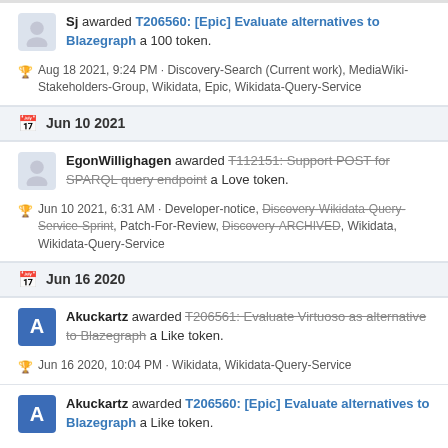Sj awarded T206560: [Epic] Evaluate alternatives to Blazegraph a 100 token.
Aug 18 2021, 9:24 PM · Discovery-Search (Current work), MediaWiki-Stakeholders-Group, Wikidata, Epic, Wikidata-Query-Service
Jun 10 2021
EgonWillighagen awarded T112151: Support POST for SPARQL query endpoint a Love token.
Jun 10 2021, 6:31 AM · Developer-notice, Discovery-Wikidata-Query-Service-Sprint, Patch-For-Review, Discovery-ARCHIVED, Wikidata, Wikidata-Query-Service
Jun 16 2020
Akuckartz awarded T206561: Evaluate Virtuoso as alternative to Blazegraph a Like token.
Jun 16 2020, 10:04 PM · Wikidata, Wikidata-Query-Service
Akuckartz awarded T206560: [Epic] Evaluate alternatives to Blazegraph a Like token.